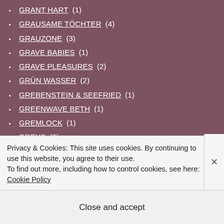GRANT HART (1)
GRAUSAME TÖCHTER (4)
GRAUZONE (3)
GRAVE BABIES (1)
GRAVE PLEASURES (2)
GRÜN WASSER (2)
GREBENSTEIN & SEEFRIED (1)
GREENWAVE BETH (1)
GREMLOCK (1)
GREYS (2)
GRID (2)
GRIEFJOY (1)
GRIM (2)
GRISCHA LICHTNBERGER (1)
GROUP A (1)
GROUP RHODA (2)
Privacy & Cookies: This site uses cookies. By continuing to use this website, you agree to their use. To find out more, including how to control cookies, see here: Cookie Policy
Close and accept